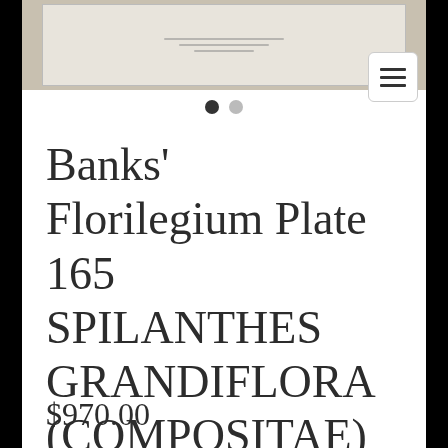[Figure (photo): Partial view of a botanical plate or document, tan/beige colored background with faint text lines, shown at top of mobile product page]
Banks' Florilegium Plate 165 SPILANTHES GRANDIFLORA (COMPOSITAE)
$970.00